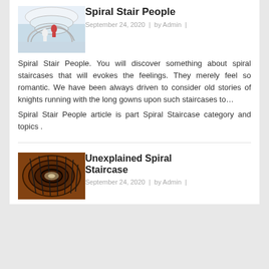[Figure (photo): Photo of people on a modern white spiral staircase]
Spiral Stair People
September 24, 2020  |  by Admin  |
Spiral Stair People. You will discover something about spiral staircases that will evokes the feelings. They merely feel so romantic. We have been always driven to consider old stories of knights running with the long gowns upon such staircases to…
Spiral Stair People article is part Spiral Staircase category and topics .
[Figure (photo): Photo of a dark ornate wooden spiral staircase viewed from above]
Unexplained Spiral Staircase
September 24, 2020  |  by Admin  |